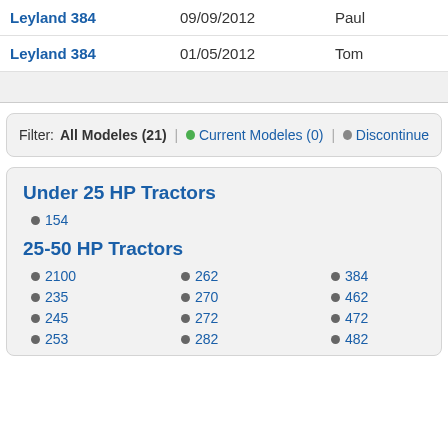| Model | Date | User |
| --- | --- | --- |
| Leyland 384 | 09/09/2012 | Paul |
| Leyland 384 | 01/05/2012 | Tom |
Filter: All Modeles (21) | Current Modeles (0) | Discontinued…
Under 25 HP Tractors
154
25-50 HP Tractors
2100
235
245
253
262
270
272
282
384
462
472
482